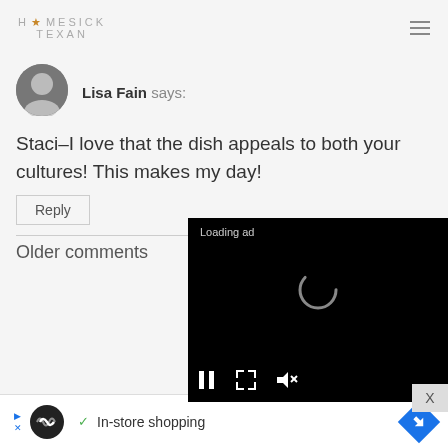HOMESICK TEXAN
[Figure (photo): Circular avatar of a woman smiling, black and white photo]
Lisa Fain says:
Staci–I love that the dish appeals to both your cultures! This makes my day!
Reply
Older comments
[Figure (screenshot): Video ad player overlay showing 'Loading ad' text with a spinner and playback controls (pause, expand, mute) on a black background]
[Figure (screenshot): Bottom banner advertisement with circular logo, checkmark, text 'In-store shopping', navigation arrow icon, and close button X]